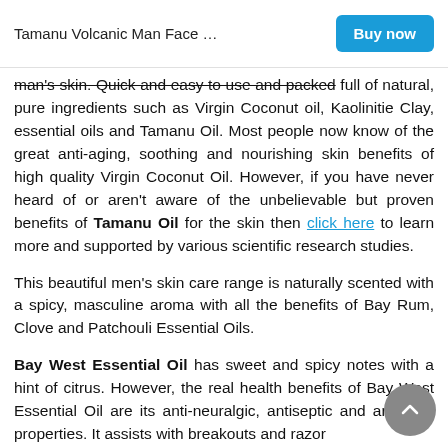Tamanu Volcanic Man Face …   Buy now
man's skin. Quick and easy to use and packed full of natural, pure ingredients such as Virgin Coconut oil, Kaolinitie Clay, essential oils and Tamanu Oil. Most people now know of the great anti-aging, soothing and nourishing skin benefits of high quality Virgin Coconut Oil. However, if you have never heard of or aren't aware of the unbelievable but proven benefits of Tamanu Oil for the skin then click here to learn more and supported by various scientific research studies.
This beautiful men's skin care range is naturally scented with a spicy, masculine aroma with all the benefits of Bay Rum, Clove and Patchouli Essential Oils.
Bay West Essential Oil has sweet and spicy notes with a hint of citrus. However, the real health benefits of Bay West Essential Oil are its anti-neuralgic, antiseptic and antibiotic properties. It assists with breakouts and razor